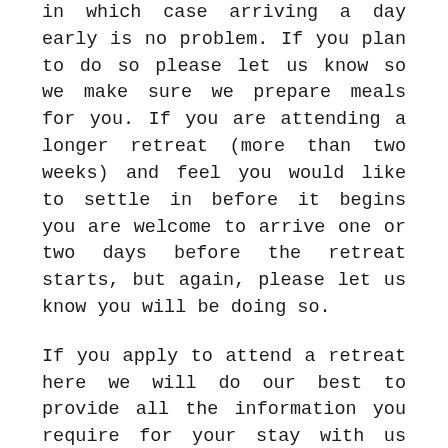in which case arriving a day early is no problem. If you plan to do so please let us know so we make sure we prepare meals for you. If you are attending a longer retreat (more than two weeks) and feel you would like to settle in before it begins you are welcome to arrive one or two days before the retreat starts, but again, please let us know you will be doing so.
If you apply to attend a retreat here we will do our best to provide all the information you require for your stay with us but please be aware the retreat schedules are sometimes prepared quite close to the time, while decisions about periods of silence to be kept during the retreats are made by the retreat leader and are sometimes very last minute.
What to Bring